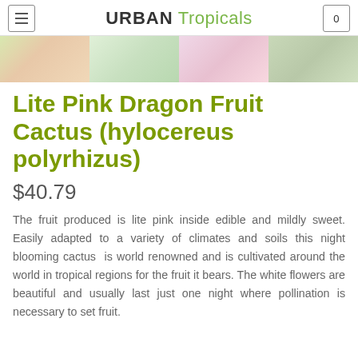URBAN Tropicals
[Figure (photo): Banner strip of four product/plant images across the top of the page]
Lite Pink Dragon Fruit Cactus (hylocereus polyrhizus)
$40.79
The fruit produced is lite pink inside edible and mildly sweet. Easily adapted to a variety of climates and soils this night blooming cactus is world renowned and is cultivated around the world in tropical regions for the fruit it bears. The white flowers are beautiful and usually last just one night where pollination is necessary to set fruit.